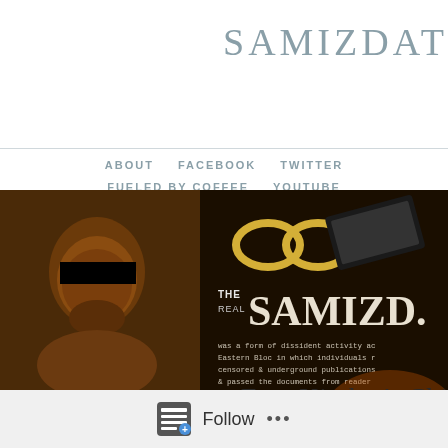SAMIZDАТ
ABOUT   FACEBOOK   TWITTER   FUELED BY COFFEE   YOUTUBE
[Figure (photo): Hero banner image for Samizdat blog showing a figure with eyes blacked out on the left, and text on the right reading 'THE REAL SAMIZD.' with description 'was a form of dissident activity ac Eastern Bloc in which individuals r censored & underground publications & passed the documents from reader' on a dark vintage background with chains and other imagery.]
Publishing the Forbidden. All Rights Reserved. © S
Eco: Kircher's Chi